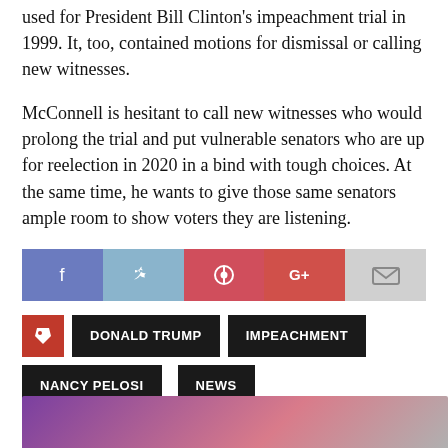used for President Bill Clinton's impeachment trial in 1999. It, too, contained motions for dismissal or calling new witnesses.
McConnell is hesitant to call new witnesses who would prolong the trial and put vulnerable senators who are up for reelection in 2020 in a bind with tough choices. At the same time, he wants to give those same senators ample room to show voters they are listening.
[Figure (infographic): Social sharing buttons: Facebook (blue-purple), Twitter (light blue), Pinterest (red), Google+ (red-orange), Email (light gray)]
DONALD TRUMP
IMPEACHMENT
NANCY PELOSI
NEWS
Around The Web
[Figure (photo): Partial bottom image strip, colorful]